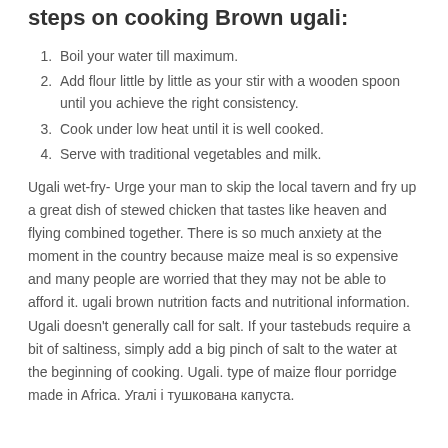steps on cooking Brown ugali:
Boil your water till maximum.
Add flour little by little as your stir with a wooden spoon until you achieve the right consistency.
Cook under low heat until it is well cooked.
Serve with traditional vegetables and milk.
Ugali wet-fry- Urge your man to skip the local tavern and fry up a great dish of stewed chicken that tastes like heaven and flying combined together. There is so much anxiety at the moment in the country because maize meal is so expensive and many people are worried that they may not be able to afford it. ugali brown nutrition facts and nutritional information. Ugali doesn't generally call for salt. If your tastebuds require a bit of saltiness, simply add a big pinch of salt to the water at the beginning of cooking. Ugali. type of maize flour porridge made in Africa. Угалі і тушкована капуста.